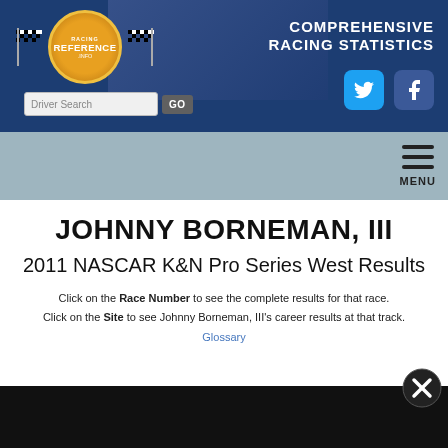[Figure (logo): Racing Reference website header banner with logo, driver search bar, 'Comprehensive Racing Statistics' text, and social media icons (Twitter, Facebook)]
MENU
JOHNNY BORNEMAN, III
2011 NASCAR K&N Pro Series West Results
Click on the Race Number to see the complete results for that race.
Click on the Site to see Johnny Borneman, III's career results at that track.
Glossary